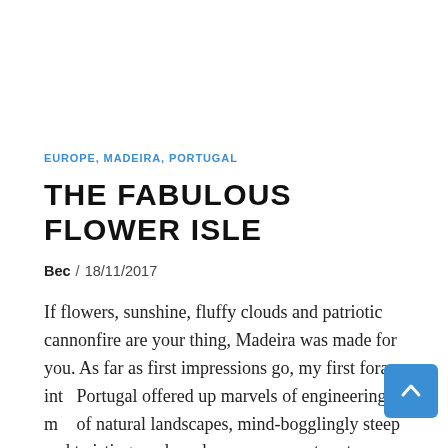EUROPE, MADEIRA, PORTUGAL
THE FABULOUS FLOWER ISLE
Bec / 18/11/2017
If flowers, sunshine, fluffy clouds and patriotic cannonfire are your thing, Madeira was made for you. As far as first impressions go, my first foray into Portugal offered up marvels of engineering, a mix of natural landscapes, mind-bogglingly steep and twisting roads and many reasons to return. Making